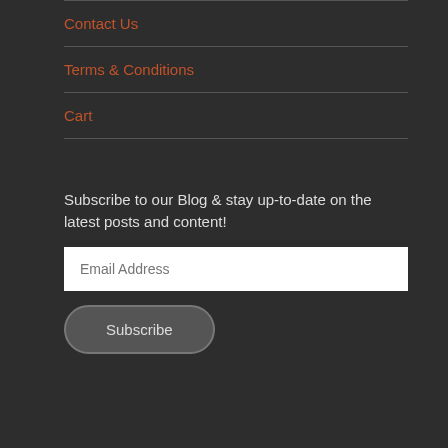Contact Us
Terms & Conditions
Cart
Subscribe to our Blog & stay up-to-date on the latest posts and content!
Email Address
Subscribe